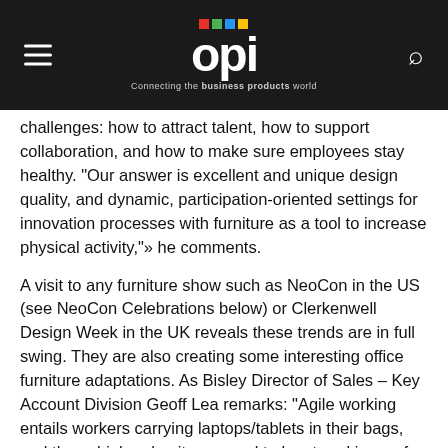[Figure (logo): OPI logo with colorful dots above on dark background, hamburger menu icon on left, search icon on right, tagline 'Connecting the business products world']
challenges: how to attract talent, how to support collaboration, and how to make sure employees stay healthy. "Our answer is excellent and unique design quality, and dynamic, participation-oriented settings for innovation processes with furniture as a tool to increase physical activity,"» he comments.
A visit to any furniture show such as NeoCon in the US (see NeoCon Celebrations below) or Clerkenwell Design Week in the UK reveals these trends are in full swing. They are also creating some interesting office furniture adaptations. As Bisley Director of Sales – Key Account Division Geoff Lea remarks: "Agile working entails workers carrying laptops/tablets in their bags, and these high-value items need to be stored in a safe and secure way. The use of a locker or pedestal keeps an employee connected to the workplace, creating an essential 'sense of belonging'."»
Bisley recognises that while it currently maintains its high market share, it operates in a declining sector and therefore innovation is